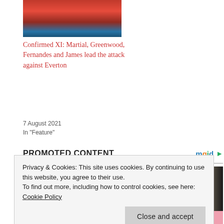[Figure (photo): Manchester United related image with red and blue team colors]
Confirmed XI: Martial, Greenwood, Fernandes and James lead the attack against Everton
7 August 2021
In "Feature"
PROMOTED CONTENT
[Figure (photo): Two men sitting together in what appears to be a bar or restaurant setting]
Privacy & Cookies: This site uses cookies. By continuing to use this website, you agree to their use.
To find out more, including how to control cookies, see here: Cookie Policy
Close and accept
[Figure (photo): Bottom strip showing partial image with pink/colorful content]